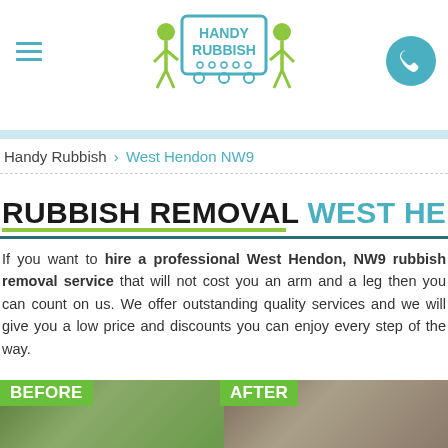[Figure (logo): Handy Rubbish logo with two stick figures carrying a skip/rubbish container, teal color scheme]
Handy Rubbish › West Hendon NW9
RUBBISH REMOVAL WEST HENDON NW9
If you want to hire a professional West Hendon, NW9 rubbish removal service that will not cost you an arm and a leg then you can count on us. We offer outstanding quality services and we will give you a low price and discounts you can enjoy every step of the way.
[Figure (photo): Before and after photos of rubbish removal in West Hendon, showing exterior of property before and after service]